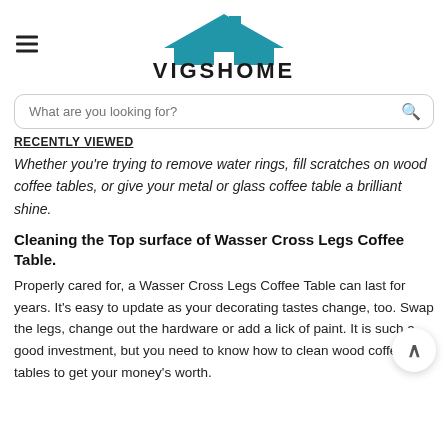VIGSHOME
What are you looking for?
RECENTLY VIEWED
Whether you're trying to remove water rings, fill scratches on wood coffee tables, or give your metal or glass coffee table a brilliant shine.
Cleaning the Top surface of Wasser Cross Legs Coffee Table.
Properly cared for, a Wasser Cross Legs Coffee Table can last for years. It's easy to update as your decorating tastes change, too. Swap the legs, change out the hardware or add a lick of paint. It is such a good investment, but you need to know how to clean wood coffee tables to get your money's worth.